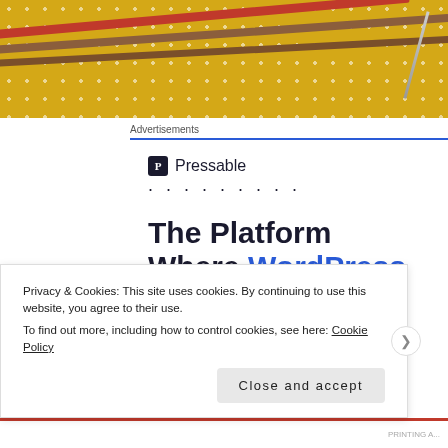[Figure (photo): Yellow polka-dot fabric background with brown chopsticks and a red stick across, and a needle visible at right]
Advertisements
[Figure (logo): Pressable logo with shield P icon and dotted line below]
The Platform Where WordPress Works Best
Privacy & Cookies: This site uses cookies. By continuing to use this website, you agree to their use.
To find out more, including how to control cookies, see here: Cookie Policy
Close and accept